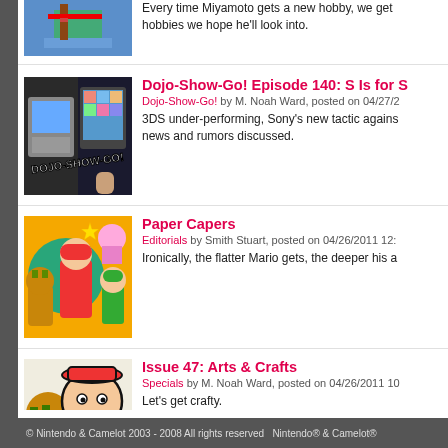[Figure (photo): Thumbnail image of a 3D Mario-themed craft/model on a blue base, partially visible at top]
Every time Miyamoto gets a new hobby, we get hobbies we hope he'll look into.
[Figure (photo): Thumbnail for Dojo-Show-Go! Episode 140, showing 3DS and tablet devices with Dojo-Show-Go logo]
Dojo-Show-Go! Episode 140: S Is for S
Dojo-Show-Go! by M. Noah Ward, posted on 04/27/2
3DS under-performing, Sony's new tactic against news and rumors discussed.
[Figure (photo): Thumbnail for Paper Capers showing Paper Mario characters including Mario, Bowser, Peach, and Luigi on colorful background]
Paper Capers
Editorials by Smith Stuart, posted on 04/26/2011 12:
Ironically, the flatter Mario gets, the deeper his a
[Figure (photo): Thumbnail for Issue 47: Arts & Crafts showing Bowser, a cartoon character with red hat, Peach, with Arts & Crafts text]
Issue 47: Arts & Crafts
Specials by M. Noah Ward, posted on 04/26/2011 10
Let's get crafty.
© Nintendo & Camelot 2003 - 2008 All rights reserved Nintendo® & Camelot®